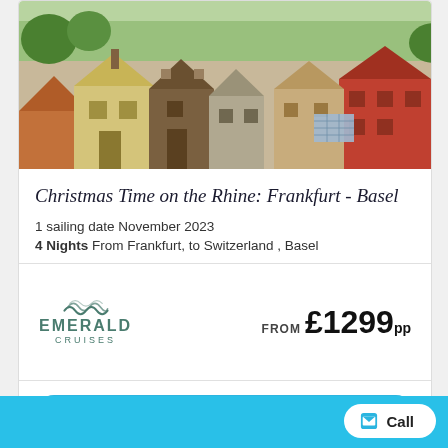[Figure (photo): Aerial view of European town rooftops with red/orange tiles, yellow building, trees, and various residential structures]
Christmas Time on the Rhine: Frankfurt - Basel
1 sailing date November 2023
4 Nights From Frankfurt, to Switzerland , Basel
[Figure (logo): Emerald Cruises logo with wave symbol above text EMERALD CRUISES]
FROM £1299pp
VIEW THIS CRUISE
Call